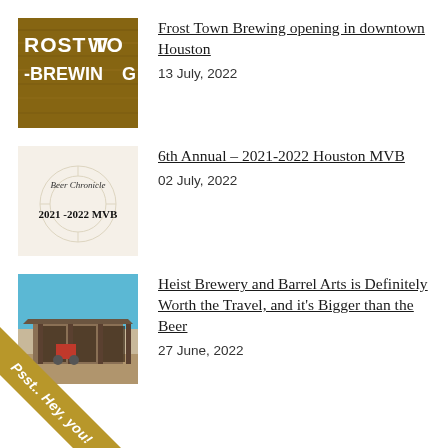[Figure (photo): Photo of Frost Town Brewing sign on wood background with white letters reading ROST TOW BREWING]
Frost Town Brewing opening in downtown Houston
13 July, 2022
[Figure (photo): Beer Chronicle logo image with text 'Beer Chronicle' and '2021-2022 MVB' in old-style font on light background]
6th Annual – 2021-2022 Houston MVB
02 July, 2022
[Figure (photo): Photo of Heist Brewery and Barrel Arts building exterior with blue sky]
Heist Brewery and Barrel Arts is Definitely Worth the Travel, and it's Bigger than the Beer
27 June, 2022
[Figure (other): Gold diagonal ribbon banner in bottom-left corner with text 'Psst.. Hey, you!']